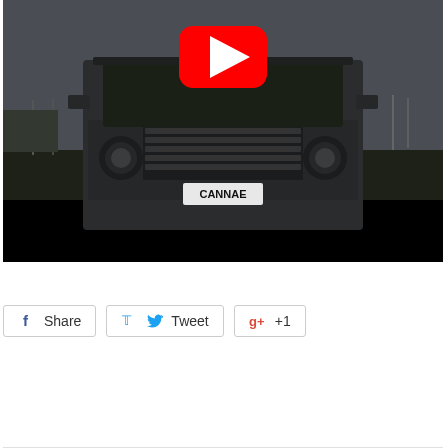[Figure (screenshot): YouTube video thumbnail showing front view of a dark Land Rover Defender 4x4 vehicle with license plate reading 'CANNAE', parked on a field with overcast sky. A YouTube play button overlay is visible in the upper center. The lower portion of the video frame is black (letterbox).]
[Figure (infographic): Social sharing buttons row: Facebook Share button, Twitter Tweet button, and Google+1 button]